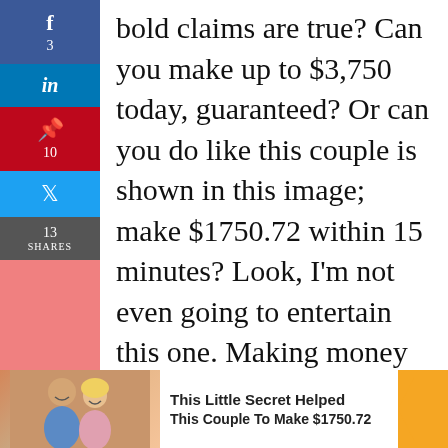[Figure (infographic): Social media share sidebar with Facebook (3 shares), LinkedIn, Pinterest (10), Twitter, and share count (13 SHARES)]
bold claims are true? Can you make up to $3,750 today, guaranteed? Or can you do like this couple is shown in this image; make $1750.72 within 15 minutes? Look, I'm not even going to entertain this one. Making money online is not that easy, and it's ludicrous even to think that you can make $1750.72 within 15 minutes.
[Figure (infographic): Advertisement banner showing a couple photo and text: This Little Secret Helped This Couple To Make $1750.72]